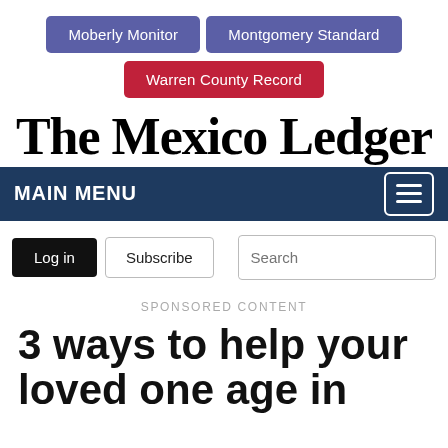Moberly Monitor | Montgomery Standard | Warren County Record
The Mexico Ledger
MAIN MENU
Log in  Subscribe  Search
SPONSORED CONTENT
3 ways to help your loved one age in